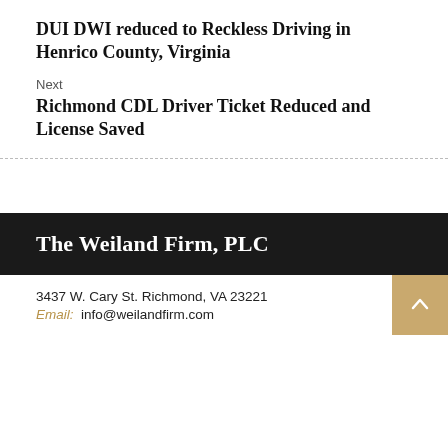DUI DWI reduced to Reckless Driving in Henrico County, Virginia
Next
Richmond CDL Driver Ticket Reduced and License Saved
The Weiland Firm, PLC
3437 W. Cary St. Richmond, VA 23221
Email: info@weilandfirm.com